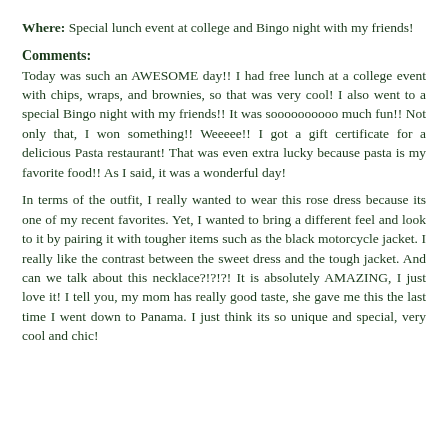Where: Special lunch event at college and Bingo night with my friends!
Comments:
Today was such an AWESOME day!! I had free lunch at a college event with chips, wraps, and brownies, so that was very cool! I also went to a special Bingo night with my friends!! It was soooooooooo much fun!! Not only that, I won something!! Weeeee!! I got a gift certificate for a delicious Pasta restaurant! That was even extra lucky because pasta is my favorite food!! As I said, it was a wonderful day!
In terms of the outfit, I really wanted to wear this rose dress because its one of my recent favorites. Yet, I wanted to bring a different feel and look to it by pairing it with tougher items such as the black motorcycle jacket. I really like the contrast between the sweet dress and the tough jacket. And can we talk about this necklace?!?!?! It is absolutely AMAZING, I just love it! I tell you, my mom has really good taste, she gave me this the last time I went down to Panama. I just think its so unique and special, very cool and chic!